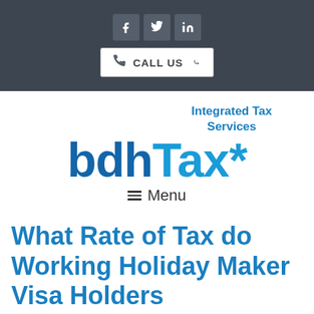[Figure (screenshot): Dark header bar with Facebook, Twitter, LinkedIn social icons and a CALL US button with phone icon and chevron]
Integrated Tax Services
bdhTax*
≡ Menu
What Rate of Tax do Working Holiday Maker Visa Holders